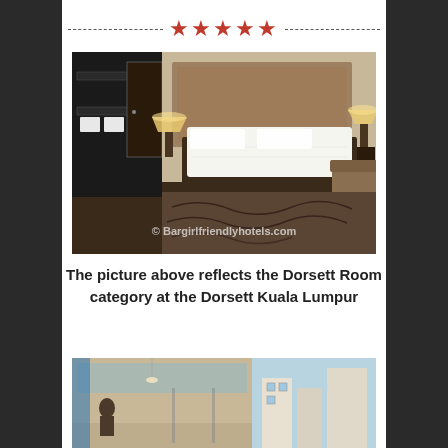[Figure (photo): Five red stars between two dashed lines, used as a decorative rating divider]
[Figure (photo): Hotel room photo showing a Dorsett Room with a large bed with white bedding, nightstand lamps, decorative headboard, armchair, and dark furnishings. Watermark reads: © Bargirlfriendlyhotels.com]
The picture above reflects the Dorsett Room category at the Dorsett Kuala Lumpur
[Figure (photo): Second hotel photo showing a lobby or room area with blue and beige tones, glass panels, and bright exterior view.]